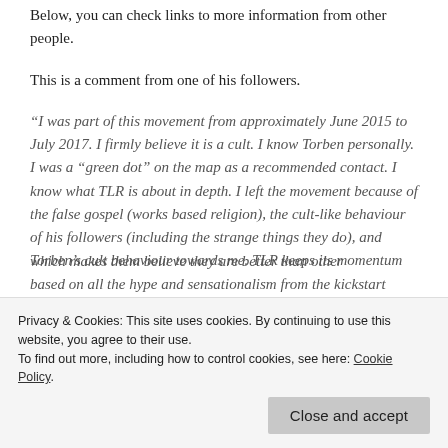Below, you can check links to more information from other people.
This is a comment from one of his followers.
“I was part of this movement from approximately June 2015 to July 2017. I firmly believe it is a cult. I know Torben personally. I was a “green dot” on the map as a recommended contact. I know what TLR is about in depth. I left the movement because of the false gospel (works based religion), the cult-like behaviour of his followers (including the strange things they do), and Torben’s cult behaviour towards me. TLR keeps its momentum based on all the hype and sensationalism from the kickstart events and the movies.
which makes them believe they are better than other
Privacy & Cookies: This site uses cookies. By continuing to use this website, you agree to their use.
To find out more, including how to control cookies, see here: Cookie Policy